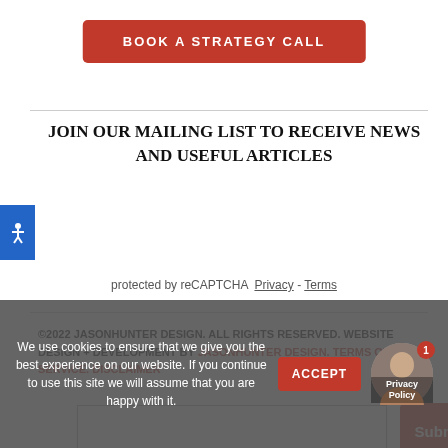[Figure (other): Red 'BOOK A STRATEGY CALL' button at top center]
JOIN OUR MAILING LIST TO RECEIVE NEWS AND USEFUL ARTICLES
[Figure (other): Email input field with Submit button and accessibility icon]
protected by reCAPTCHA   Privacy - Terms
©2022 JASONHUNTER DESIGN. ALL RIGHTS RESERVED. WEBSITE DESIGN + DEVELOPMENT BY JASONHUNTER DESIGN. TERMS OF SERVICE. DISCLAIMER
We use cookies to ensure that we give you the best experience on our website. If you continue to use this site we will assume that you are happy with it.